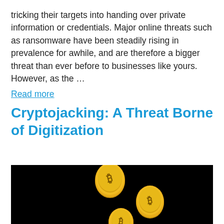tricking their targets into handing over private information or credentials. Major online threats such as ransomware have been steadily rising in prevalence for awhile, and are therefore a bigger threat than ever before to businesses like yours. However, as the …
Read more
Cryptojacking: A Threat Borne of Digitization
[Figure (photo): Dark background image showing three gold Bitcoin coins falling or floating against a black background]